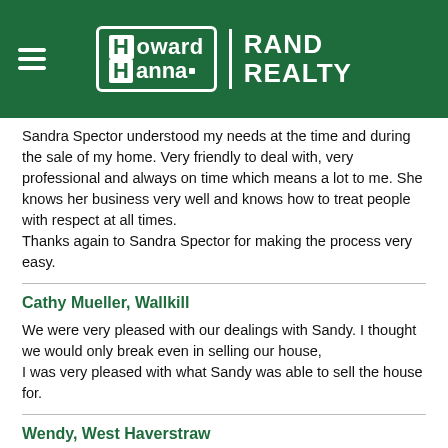[Figure (logo): Howard Hanna Rand Realty logo on dark green header background with hamburger menu icon]
Sandra Spector understood my needs at the time and during the sale of my home. Very friendly to deal with, very professional and always on time which means a lot to me. She knows her business very well and knows how to treat people with respect at all times.
Thanks again to Sandra Spector for making the process very easy.
Cathy Mueller, Wallkill
We were very pleased with our dealings with Sandy. I thought we would only break even in selling our house,
I was very pleased with what Sandy was able to sell the house for.
Wendy, West Haverstraw
We can't thank Sandy enough for all the help she gave us